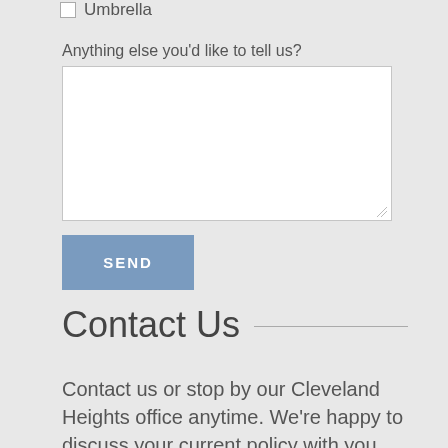Umbrella
Anything else you'd like to tell us?
SEND
Contact Us
Contact us or stop by our Cleveland Heights office anytime. We're happy to discuss your current policy with you.